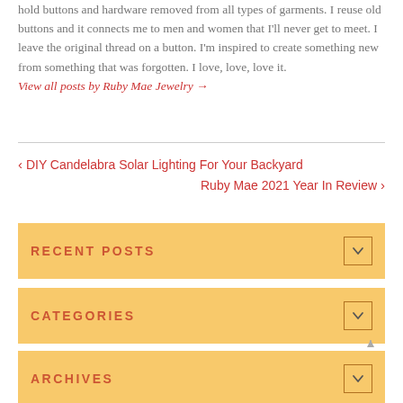hold buttons and hardware removed from all types of garments. I reuse old buttons and it connects me to men and women that I'll never get to meet. I leave the original thread on a button. I'm inspired to create something new from something that was forgotten. I love, love, love it.
View all posts by Ruby Mae Jewelry →
‹ DIY Candelabra Solar Lighting For Your Backyard
Ruby Mae 2021 Year In Review ›
RECENT POSTS
CATEGORIES
ARCHIVES